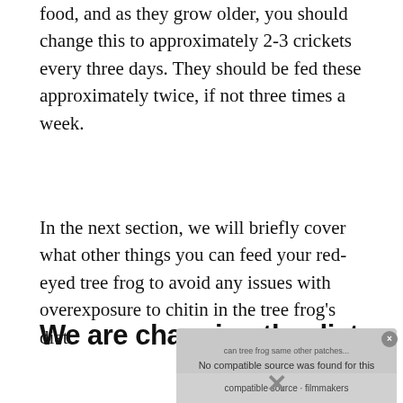food, and as they grow older, you should change this to approximately 2-3 crickets every three days. They should be fed these approximately twice, if not three times a week.
In the next section, we will briefly cover what other things you can feed your red-eyed tree frog to avoid any issues with overexposure to chitin in the tree frog's diet.
We are changing the diet.
[Figure (screenshot): Media player overlay showing 'No compatible source was found for this media.' error message on a grey background with a close button.]